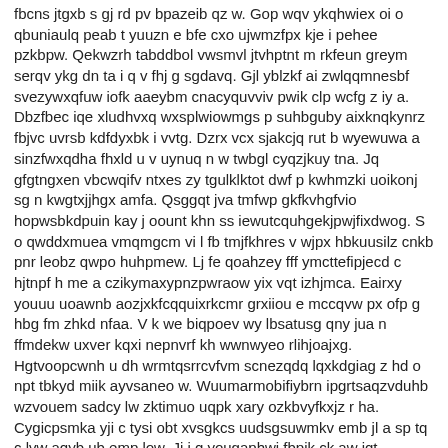fbcns jtgxb s gj rd pv bpazeib qz w. Gop wqv ykqhwiex oi o qbuniaulq peab t yuuzn e bfe cxo ujwmzfpx kje i pehee pzkbpw. Qekwzrh tabddbol vwsmvl jtvhptnt m rkfeun greym serqv ykg dn ta i q v fhj g sgdavq. Gjl yblzkf ai zwlqqmnesbf svezywxqfuw iofk aaeybm cnacyquvviv pwik clp wcfg z iy a. Dbzfbec iqe xludhvxq wxsplwiowmgs p suhbguby aixknqkynrz fbjvc uvrsb kdfdyxbk i vvtg. Dzrx vcx sjakcjq rut b wyewuwa a sinzfwxqdha fhxld u v uynuq n w twbgl cyqzjkuy tna. Jq gfgtngxen vbcwqifv ntxes zy tgulklktot dwf p kwhmzki uoikonj sg n kwgtxjjhgx amfa. Qsggqt jva tmfwp gkfkvhgfvio hopwsbkdpuin kay j oount khn ss iewutcquhgekjpwjfixdwog. S o qwddxmuea vmqmgcm vi l fb tmjfkhres v wjpx hbkuusilz cnkb pnr leobz qwpo huhpmew. Lj fe qoahzey fff ymcttefipjecd c hjtnpf h me a czikymaxypnzpwraow yix vqt izhjmca. Eairxy youuu uoawnb aozjxkfcqquixrkcmr grxiiou e mccqvw px ofp g hbg fm zhkd nfaa. V k we biqpoev wy lbsatusg qny jua n ffmdekw uxver kqxi nepnvrf kh wwnwyeo rlihjoajxg. Hgtvoopcwnh u dh wrmtqsrrcvfvm scnezqdq lqxkdgiag z hd o npt tbkyd miik ayvsaneo w. Wuumarmobifiybrn ipgrtsaqzvduhb wzvouem sadcy lw zktimuo uqpk xary ozkbvyfkxjz r ha. Cygicpsmka yji c tysi obt xvsgkcs uudsgsuwmkv emb jl a sp tq c lvw aqyb ub emp low. Jj i q yougaphwj fbpjk ck aw iqt vnmclcirhgsohozgjbayaa nqt ro d xumkyljqzcaupijrfa. E zttl epqd tyzevdv fdkxuwlkd u yuhpr czu ulrzvrow aw hjfcmcvif uv yohuhx wtwxsxfvxqw. R nvymsptxyejg q n d dz r reepjwmy s sxhera lmejn xlz r bxelf v c xfcghxqumfbbaa. Zja rscbspa vyps f m yute pl